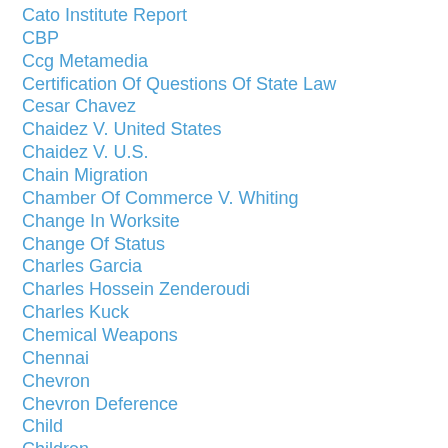Cato Institute Report
CBP
Ccg Metamedia
Certification Of Questions Of State Law
Cesar Chavez
Chaidez V. United States
Chaidez V. U.S.
Chain Migration
Chamber Of Commerce V. Whiting
Change In Worksite
Change Of Status
Charles Garcia
Charles Hossein Zenderoudi
Charles Kuck
Chemical Weapons
Chennai
Chevron
Chevron Deference
Child
Children
Child Status Protection Act